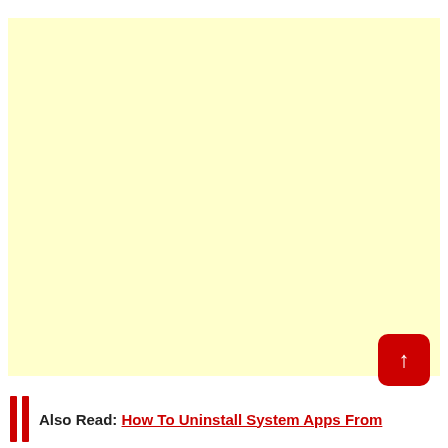[Figure (other): Large yellow/cream colored rectangle placeholder image area]
[Figure (other): Red rounded square scroll-to-top button with white upward arrow]
Also Read: How To Uninstall System Apps From